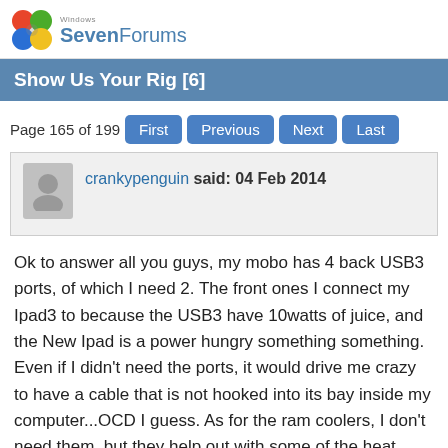Windows SevenForums
Show Us Your Rig [6]
Page 165 of 199  First  Previous  Next  Last
crankypenguin said: 04 Feb 2014
Ok to answer all you guys, my mobo has 4 back USB3 ports, of which I need 2. The front ones I connect my Ipad3 to because the USB3 have 10watts of juice, and the New Ipad is a power hungry something something. Even if I didn't need the ports, it would drive me crazy to have a cable that is not hooked into its bay inside my computer...OCD I guess. As for the ram coolers, I don't need them, but they help out with some of the heat